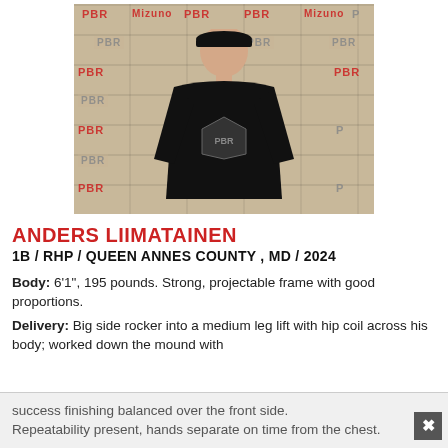[Figure (photo): Headshot/upper body photo of Anders Liimatainen wearing a black PBR t-shirt and black cap, standing in front of a PBR branded backdrop with Mizuno and Rawlings logos]
ANDERS LIIMATAINEN
1B / RHP / QUEEN ANNES COUNTY, MD / 2024
Body: 6'1", 195 pounds. Strong, projectable frame with good proportions.
Delivery: Big side rocker into a medium leg lift with hip coil across his body; worked down the mound with success finishing balanced over the front side. Repeatability present, hands separate on time from the chest.